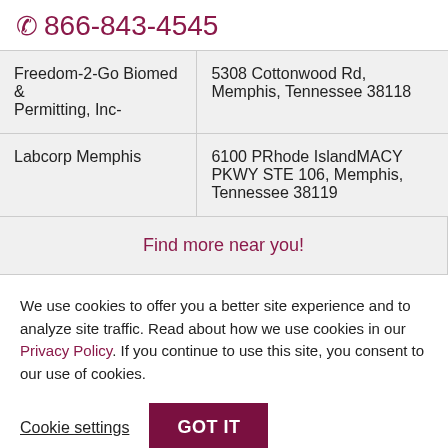☎ 866-843-4545
| Name | Address |
| --- | --- |
| Freedom-2-Go Biomed & Permitting, Inc- | 5308 Cottonwood Rd, Memphis, Tennessee 38118 |
| Labcorp Memphis | 6100 PRhode IslandMACY PKWY STE 106, Memphis, Tennessee 38119 |
| Find more near you! |  |
We use cookies to offer you a better site experience and to analyze site traffic. Read about how we use cookies in our Privacy Policy. If you continue to use this site, you consent to our use of cookies.
Cookie settings  GOT IT